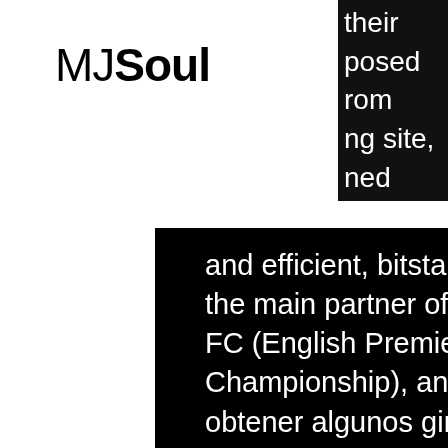[Figure (logo): MJSoul logo with MJ in thin weight and Soul in bold]
[Figure (other): Hamburger menu button (three horizontal lines on dark background)]
their posed rom ng site, ned
and efficient, bitstarz promo code august 2020. Sportsbet is the main partner of the following football clubs: Southampton FC (English Premier League) , Watford FC (English Championship), and Flamengo (Brazil Serie A). Incluso puede obtener algunos giros gratis, que es una excelente manera de ganar dinero real sin gastar un centavo, bitstarz no deposit bonus 20 tours gratuits. Gran seguridad: Finalmente, todos los casinos de juego en linea cumplen con los mas estrictos estandares de seguridad. Online since: 2014 License: Curacao Min deposit: 2. Bonus: 5 BTC Bonus%: 100% Free Spins: 100 Wagering: 40x Get Bonus, delete bitstarz account. Mutual bitcoin betting Good referral program Mobile-